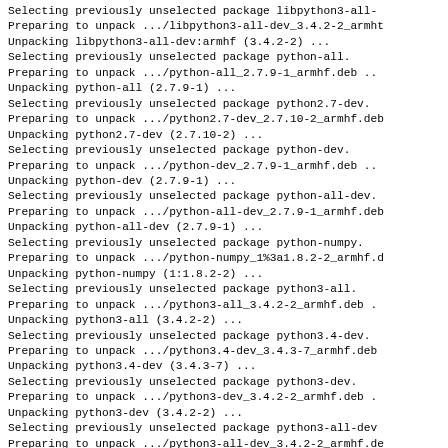Selecting previously unselected package libpython3-all-
Preparing to unpack .../libpython3-all-dev_3.4.2-2_armht
Unpacking libpython3-all-dev:armhf (3.4.2-2) ...
Selecting previously unselected package python-all.
Preparing to unpack .../python-all_2.7.9-1_armhf.deb ..
Unpacking python-all (2.7.9-1) ...
Selecting previously unselected package python2.7-dev.
Preparing to unpack .../python2.7-dev_2.7.10-2_armhf.deb
Unpacking python2.7-dev (2.7.10-2) ...
Selecting previously unselected package python-dev.
Preparing to unpack .../python-dev_2.7.9-1_armhf.deb ..
Unpacking python-dev (2.7.9-1) ...
Selecting previously unselected package python-all-dev.
Preparing to unpack .../python-all-dev_2.7.9-1_armhf.deb
Unpacking python-all-dev (2.7.9-1) ...
Selecting previously unselected package python-numpy.
Preparing to unpack .../python-numpy_1%3a1.8.2-2_armhf.d
Unpacking python-numpy (1:1.8.2-2) ...
Selecting previously unselected package python3-all.
Preparing to unpack .../python3-all_3.4.2-2_armhf.deb .
Unpacking python3-all (3.4.2-2) ...
Selecting previously unselected package python3.4-dev.
Preparing to unpack .../python3.4-dev_3.4.3-7_armhf.deb
Unpacking python3.4-dev (3.4.3-7) ...
Selecting previously unselected package python3-dev.
Preparing to unpack .../python3-dev_3.4.2-2_armhf.deb .
Unpacking python3-dev (3.4.2-2) ...
Selecting previously unselected package python3-all-dev
Preparing to unpack .../python3-all-dev_3.4.2-2_armhf.de
Unpacking python3-all-dev (3.4.2-2) ...